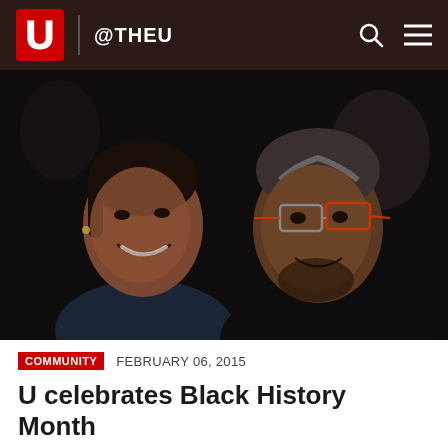U @THEU
[Figure (photo): Portrait photograph of two people smiling at the camera. A woman on the left and a man on the right wearing glasses with red frames, at what appears to be an event.]
COMMUNITY   FEBRUARY 06, 2015
U celebrates Black History Month
UNIVERSITY OF UTAH COMMUNICATIONS